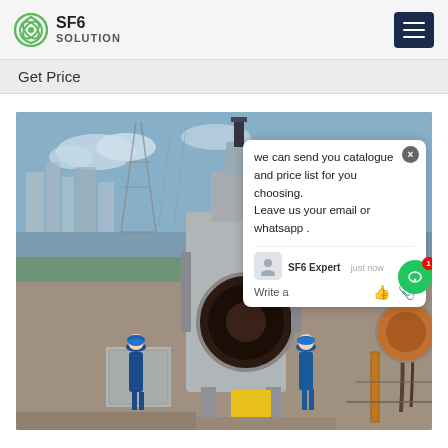SF6 SOLUTION
Get Price
[Figure (photo): Workers in blue uniforms at an electrical substation with large SF6 gas-insulated switchgear equipment. Power transmission towers visible in background. A chat popup overlay is visible on the right side showing: 'we can send you catalogue and price list for you choosing. Leave us your email or whatsapp .' with SF6 Expert label and 'just now' timestamp.]